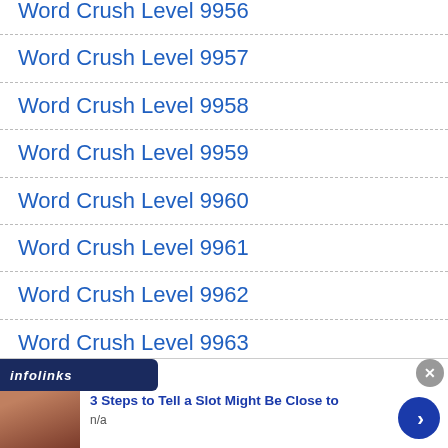Word Crush Level 9956
Word Crush Level 9957
Word Crush Level 9958
Word Crush Level 9959
Word Crush Level 9960
Word Crush Level 9961
Word Crush Level 9962
Word Crush Level 9963
Word Crush Level 9964
Word Crush Level 9965
[Figure (screenshot): Infolinks ad overlay showing a man's photo and text '3 Steps to Tell a Slot Might Be Close to' with 'n/a' subtext and a blue arrow button. Close button (x) visible top right.]